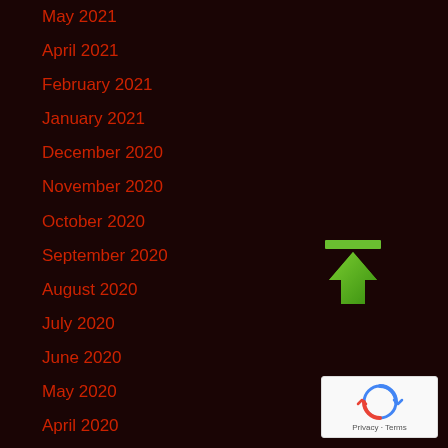May 2021
April 2021
February 2021
January 2021
December 2020
November 2020
October 2020
September 2020
August 2020
July 2020
June 2020
May 2020
April 2020
March 2020
February 2020
[Figure (illustration): Green upward arrow with a horizontal bar on top, indicating upload or scroll to top action]
[Figure (logo): Google reCAPTCHA badge with spinning arrows logo and Privacy - Terms text]